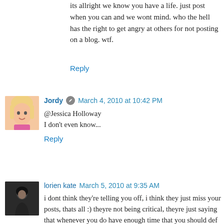its allright we know you have a life. just post when you can and we wont mind. who the hell has the right to get angry at others for not posting on a blog. wtf.
Reply
Jordy  March 4, 2010 at 10:42 PM
@Jessica Holloway
I don't even know...
Reply
lorien kate  March 5, 2010 at 9:35 AM
i dont think they're telling you off, i think they just miss your posts, thats all :) theyre not being critical, theyre just saying that whenever you do have enough time that you should def post because your followers love reading/watching your yt/blogger! :)
ive started school aswell, and i totally get how you have no time, i dont even have a job and i havent posted a single beauty-related posts for months! haha